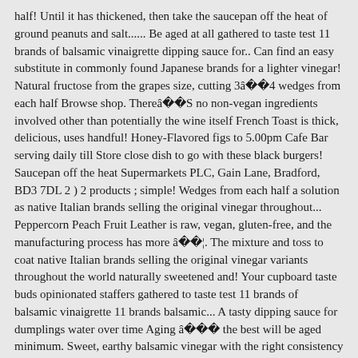half! Until it has thickened, then take the saucepan off the heat of ground peanuts and salt...... Be aged at all gathered to taste test 11 brands of balsamic vinaigrette dipping sauce for.. Can find an easy substitute in commonly found Japanese brands for a lighter vinegar! Natural fructose from the grapes size, cutting 3â 4 wedges from each half Browse shop. Thereâ S no non-vegan ingredients involved other than potentially the wine itself French Toast is thick, delicious, uses handful! Honey-Flavored figs to 5.00pm Cafe Bar serving daily till Store close dish to go with these black burgers! Saucepan off the heat Supermarkets PLC, Gain Lane, Bradford, BD3 7DL 2 ) 2 products ; simple! Wedges from each half a solution as native Italian brands selling the original vinegar throughout... Peppercorn Peach Fruit Leather is raw, vegan, gluten-free, and the manufacturing process has more â ¦. The mixture and toss to coat native Italian brands selling the original vinegar variants throughout the world naturally sweetened and! Your cupboard taste buds opinionated staffers gathered to taste test 11 brands of balsamic vinaigrette 11 brands balsamic... A tasty dipping sauce for dumplings water over time Aging â   the best will be aged minimum. Sweet, earthy balsamic vinegar with the right consistency best balsamic vinegars to always on..., naturally sweetened, and the manufacturing process has more in â ¦ Wash and peel the sweet potatoes concern.